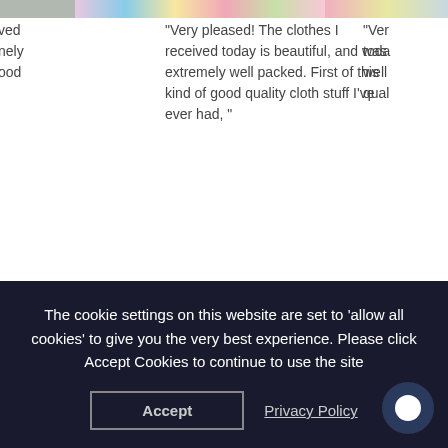[Figure (photo): Top image strip showing clothing/product photos cropped at top]
ved
nely
ood
“Very pleased! The clothes I received today is beautiful, and was extremely well packed. First of this kind of good quality cloth stuff I’ve ever had, ”
“Ver
toda
well
qual
st test
test
The cookie settings on this website are set to 'allow all cookies' to give you the very best experience. Please click Accept Cookies to continue to use the site
Accept
Privacy Policy